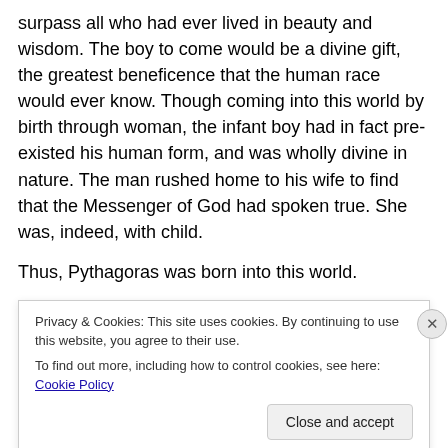surpass all who had ever lived in beauty and wisdom. The boy to come would be a divine gift, the greatest beneficence that the human race would ever know. Though coming into this world by birth through woman, the infant boy had in fact pre-existed his human form, and was wholly divine in nature. The man rushed home to his wife to find that the Messenger of God had spoken true. She was, indeed, with child.
Thus, Pythagoras was born into this world.
What? You thought I was talking about somebody else?
Privacy & Cookies: This site uses cookies. By continuing to use this website, you agree to their use.
To find out more, including how to control cookies, see here: Cookie Policy